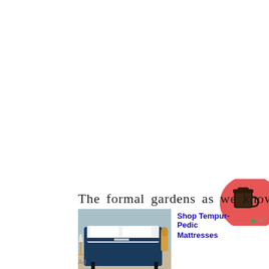The formal gardens as we know
[Figure (screenshot): Advertisement banner showing a Tempur-Pedic mattress on a dark blue bed frame in a bedroom setting, with text 'Shop Tempur-Pedic Mattresses' in blue]
Ad